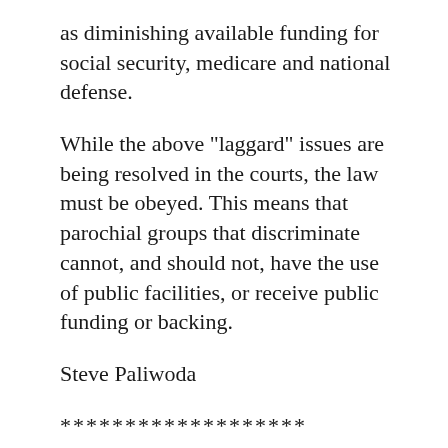as diminishing available funding for social security, medicare and national defense.
While the above "laggard" issues are being resolved in the courts, the law must be obeyed. This means that parochial groups that discriminate cannot, and should not, have the use of public facilities, or receive public funding or backing.
Steve Paliwoda
*******************
Warren,